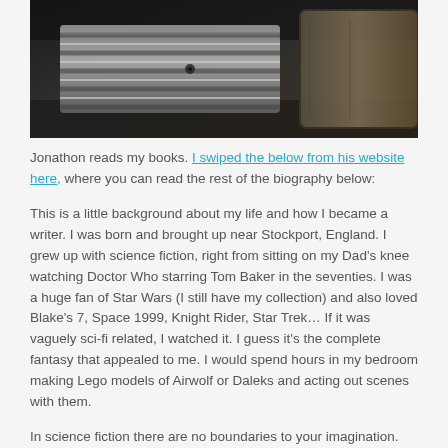[Figure (photo): Close-up photograph of metallic mechanical parts, possibly a screw thread or bolt mechanism, dark industrial metal texture]
Jonathon reads my books. I swiped the below from his website here, where you can read the rest of the biography below:
This is a little background about my life and how I became a writer. I was born and brought up near Stockport, England. I grew up with science fiction, right from sitting on my Dad's knee watching Doctor Who starring Tom Baker in the seventies. I was a huge fan of Star Wars (I still have my collection) and also loved Blake's 7, Space 1999, Knight Rider, Star Trek… If it was vaguely sci-fi related, I watched it. I guess it's the complete fantasy that appealed to me. I would spend hours in my bedroom making Lego models of Airwolf or Daleks and acting out scenes with them.
In science fiction there are no boundaries to your imagination. You can create whole worlds, even galaxies, far, far away. I always loved a great sci-fi gadget, spacecraft or weapon; from a lightsaber to the drop-ship in Aliens, or a Martian tripod war machine. I used to make models of things that I liked out of cardboard cereal packets and loo